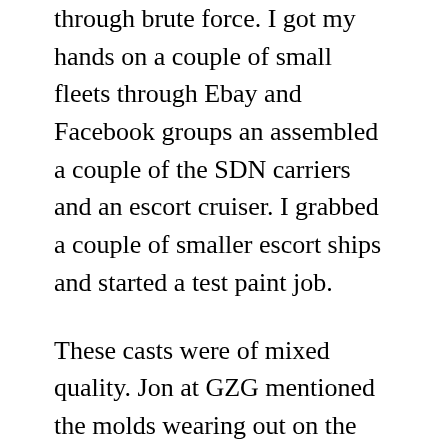through brute force. I got my hands on a couple of small fleets through Ebay and Facebook groups an assembled a couple of the SDN carriers and an escort cruiser. I grabbed a couple of smaller escort ships and started a test paint job.
These casts were of mixed quality. Jon at GZG mentioned the molds wearing out on the larger NSL ships which prompted him to retire them and make the new sculpts. The two Der Theuerdank dreadnought/carrier models I got my hands on first definitely showed signs of miscasting. It didn’t help that the previous owner assembled them poorly and roughed them up pretty bad. If I had noticed the damage I probably would’t have bought them. I got